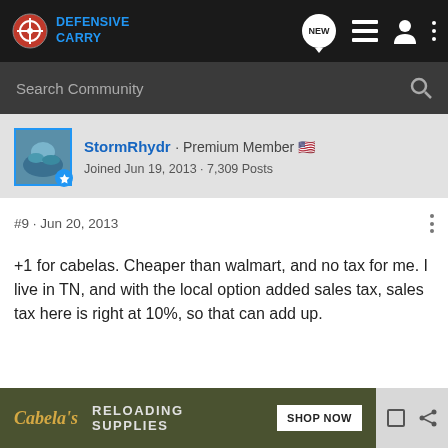Defensive Carry — navigation bar with logo, NEW, list, profile, and menu icons
Search Community
[Figure (illustration): User avatar for StormRhydr with blue border and blue badge icon]
StormRhydr · Premium Member 🇺🇸
Joined Jun 19, 2013 · 7,309 Posts
#9 · Jun 20, 2013
+1 for cabelas. Cheaper than walmart, and no tax for me. I live in TN, and with the local option added sales tax, sales tax here is right at 10%, so that can add up.
[Figure (illustration): Cabela's advertisement banner: Cabelas logo, RELOADING SUPPLIES, SHOP NOW button]